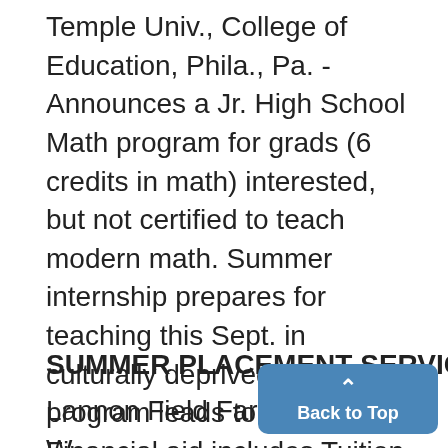Temple Univ., College of Education, Phila., Pa. - Announces a Jr. High School Math program for grads (6 credits in math) interested, but not certified to teach modern math. Summer internship prepares for teaching this Sept. in culturally deprived areas. 3 yr program leads to MA & sertif, Financial aid includes Tuition & stipend. Details at Bureau,
SUMMER PLACEMENT SERVICE: 212 SAB-
Lannon Field Farms, Lannon, W